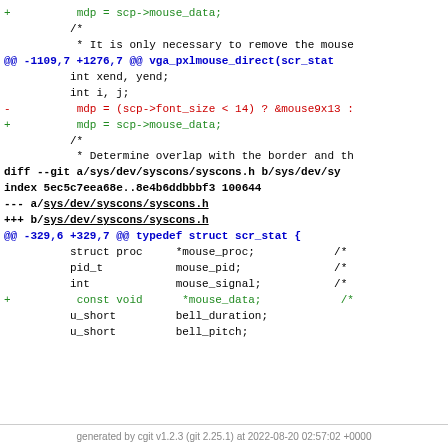code diff showing changes to syscons files including mdp assignments and struct additions
generated by cgit v1.2.3 (git 2.25.1) at 2022-08-20 02:57:02 +0000